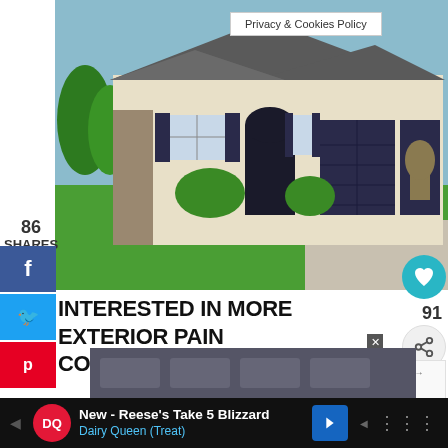[Figure (photo): Exterior photo of a large beige stucco house with dark navy shutters and garage doors, manicured green lawn, and decorative landscaping]
Privacy & Cookies Policy
86 SHARES
INTERESTED IN MORE EXTERIOR PAINT COLORS? CHECK THESE OUT:
WHAT'S NEXT → Sherwin Williams...
[Figure (advertisement): Dairy Queen advertisement: New - Reese's Take 5 Blizzard, Dairy Queen (Treat)]